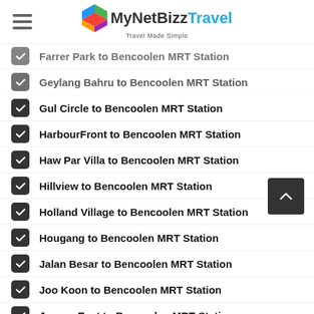MyNetBizz Travel — Travel Made Simple
Farrer Park to Bencoolen MRT Station
Geylang Bahru to Bencoolen MRT Station
Gul Circle to Bencoolen MRT Station
HarbourFront to Bencoolen MRT Station
Haw Par Villa to Bencoolen MRT Station
Hillview to Bencoolen MRT Station
Holland Village to Bencoolen MRT Station
Hougang to Bencoolen MRT Station
Jalan Besar to Bencoolen MRT Station
Joo Koon to Bencoolen MRT Station
Jurong East to Bencoolen MRT Station
Kaki Bukit to Bencoolen MRT Station
Kallang to Bencoolen MRT Station